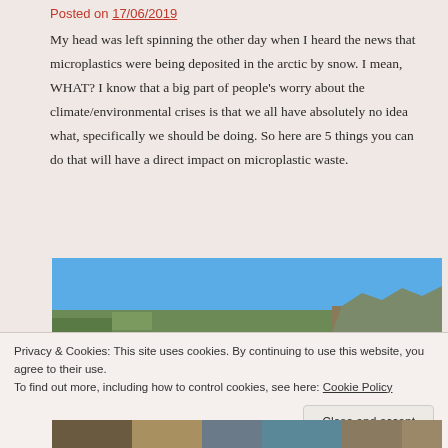Posted on 17/06/2019
My head was left spinning the other day when I heard the news that microplastics were being deposited in the arctic by snow. I mean, WHAT? I know that a big part of people’s worry about the climate/environmental crises is that we all have absolutely no idea what, specifically we should be doing. So here are 5 things you can do that will have a direct impact on microplastic waste.
[Figure (photo): Photo showing a blue sky with rocky terrain below, partially obscured by a cookie consent banner]
Privacy & Cookies: This site uses cookies. By continuing to use this website, you agree to their use.
To find out more, including how to control cookies, see here: Cookie Policy
[Figure (photo): Bottom strip showing rocky/natural landscape photo]